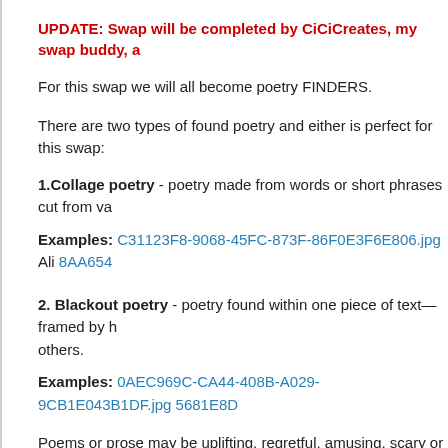UPDATE: Swap will be completed by CiCiCreates, my swap buddy, a
For this swap we will all become poetry FINDERS.
There are two types of found poetry and either is perfect for this swap:
1.Collage poetry - poetry made from words or short phrases cut from va
Examples: C31123F8-9068-45FC-873F-86F0E3F6E806.jpg Ali 8AA654
2. Blackout poetry - poetry found within one piece of text— framed by h others.
Examples: 0AEC969C-CA44-408B-A029-9CB1E043B1DF.jpg 5681E8D
Poems or prose may be uplifting, regretful, amusing, scary or snarky.... to As always I will do my best to exchange type and effort for the same from
Requirements: